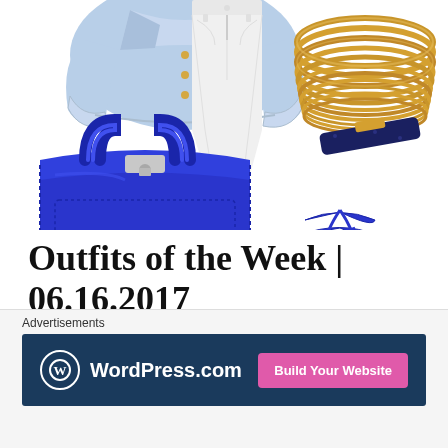[Figure (photo): Fashion collage showing: top-left a light blue denim jacket, center white skinny jeans, top-right gold stacked bangles and a navy blue gold-bar bracelet, bottom-left a royal blue Hermès Birkin bag, bottom-right royal blue strappy lace-up high heel sandals with embellishments]
Outfits of the Week | 06.16.2017
june 15, 2017, posted in outfit of the day, style guide
Here we all it b...
[Figure (screenshot): WordPress.com advertisement banner with dark navy background, WordPress logo and name on left, pink 'Build Your Website' button on right. Above banner: 'Advertisements' label text.]